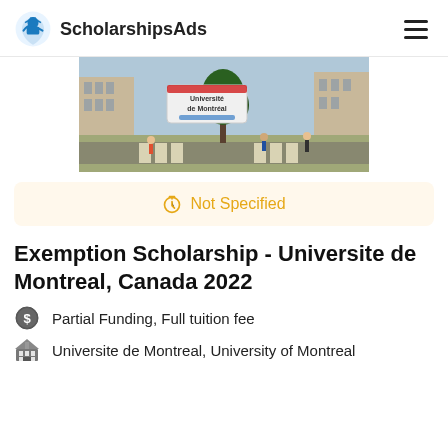ScholarshipsAds
[Figure (photo): Street-level view of Universite de Montreal campus with buildings, a tree, and pedestrians crossing a zebra crossing. A sign reads 'Universite de Montreal'.]
Not Specified
Exemption Scholarship - Universite de Montreal, Canada 2022
Partial Funding, Full tuition fee
Universite de Montreal, University of Montreal